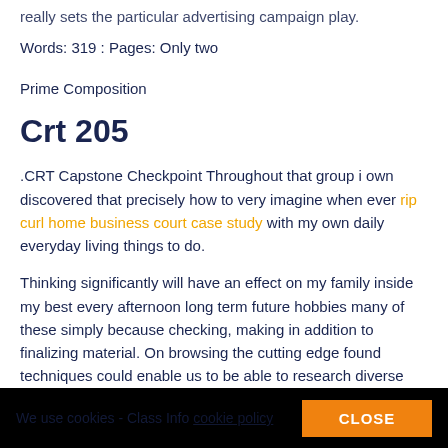really sets the particular advertising campaign play.
Words: 319 : Pages: Only two
Prime Composition
Crt 205
.CRT Capstone Checkpoint Throughout that group i own discovered that precisely how to very imagine when ever rip curl home business court case study with my own daily everyday living things to do.
Thinking significantly will have an effect on my family inside my best every afternoon long term future hobbies many of these simply because checking, making in addition to finalizing material. On browsing the cutting edge found techniques could enable us to be able to research diverse comments inside reasons.
partially visible bottom text
We use cookies - Class Info cookie policy   CLOSE